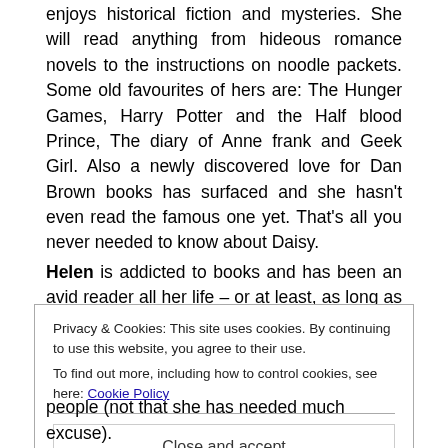enjoys historical fiction and mysteries. She will read anything from hideous romance novels to the instructions on noodle packets. Some old favourites of hers are: The Hunger Games, Harry Potter and the Half blood Prince, The diary of Anne frank and Geek Girl. Also a newly discovered love for Dan Brown books has surfaced and she hasn't even read the famous one yet. That's all you never needed to know about Daisy.
Helen is addicted to books and has been an avid reader all her life – or at least, as long as she can remember! She usually has at least three books on the go at any one time and no day is complete without some reading in there
Privacy & Cookies: This site uses cookies. By continuing to use this website, you agree to their use.
To find out more, including how to control cookies, see here: Cookie Policy
Close and accept
people (not that she has needed much excuse).